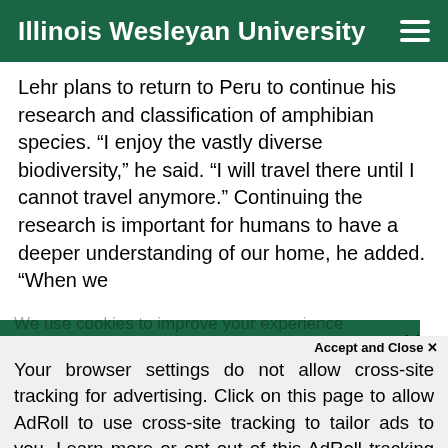Illinois Wesleyan University
Lehr plans to return to Peru to continue his research and classification of amphibian species. “I enjoy the vastly diverse biodiversity,” he said. “I will travel there until I cannot travel anymore.” Continuing the research is important for humans to have a deeper understanding of our home, he added. “When we [obscured] this
We use cookies to improve your experience on our website. By continuing to use our site [obscured] tes to
Accept and Close ×
Your browser settings do not allow cross-site tracking for advertising. Click on this page to allow AdRoll to use cross-site tracking to tailor ads to you. Learn more or opt out of this AdRoll tracking by clicking here. This message only appears once.